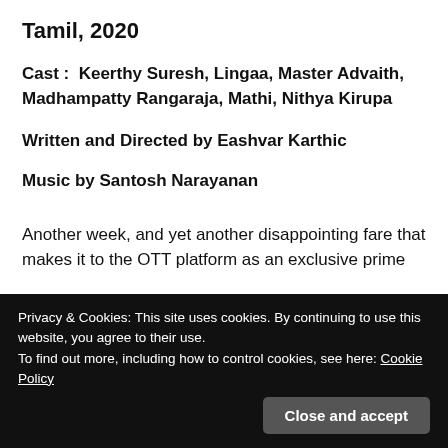Tamil, 2020
Cast :  Keerthy Suresh, Lingaa, Master Advaith, Madhampatty Rangaraja, Mathi, Nithya Kirupa
Written and Directed by Eashvar Karthic
Music by Santosh Narayanan
Another week, and yet another disappointing fare that makes it to the OTT platform as an exclusive prime
Privacy & Cookies: This site uses cookies. By continuing to use this website, you agree to their use.
To find out more, including how to control cookies, see here: Cookie Policy
from their mothers.